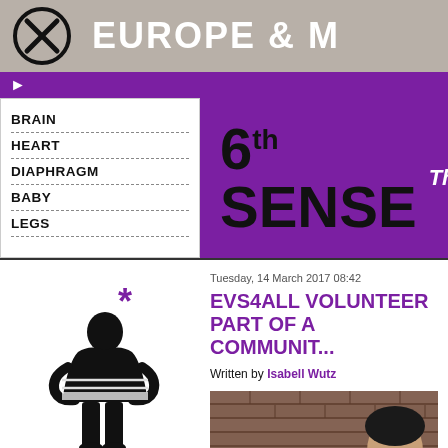EUROPE & M
6th SENSE  The
BRAIN
HEART
DIAPHRAGM
BABY
LEGS
[Figure (illustration): Silhouette of a person with arms behind back, with a purple asterisk (*) above]
Tuesday, 14 March 2017 08:42
EVS4ALL VOLUNTEER... PART OF A COMMUNIT...
Written by Isabell Wutz
[Figure (photo): Photo of a person in front of a brick wall]